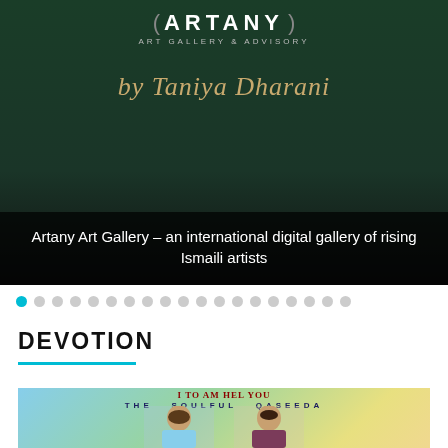[Figure (photo): Artany Art Gallery & Advisory banner with logo, cursive text 'by Taniya Dharani', and dark overlay caption about the gallery]
Artany Art Gallery – an international digital gallery of rising Ismaili artists
[Figure (other): Carousel navigation dots, first dot active (teal), remaining dots grey]
DEVOTION
[Figure (photo): Promotional image for 'The Soulful Qaseeda' showing two young girls against a colourful background with text overlay]